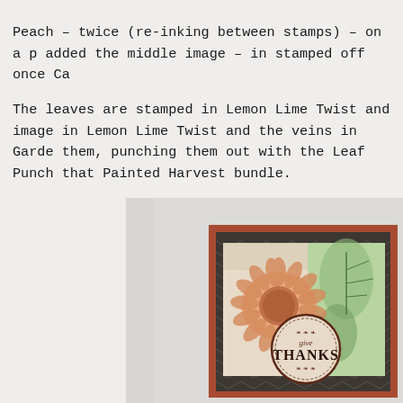Peach – twice (re-inking between stamps) – on a p added the middle image – in stamped off once Ca
The leaves are stamped in Lemon Lime Twist and image in Lemon Lime Twist and the veins in Garde them, punching them out with the Leaf Punch that Painted Harvest bundle.
[Figure (photo): A handmade greeting card featuring a sunflower stamped in peach/orange tones, green leaves, a dark chevron-patterned background layer with a rust/copper border, and a circular badge reading 'give THANKS' in the center. The card is photographed against a light gray background.]